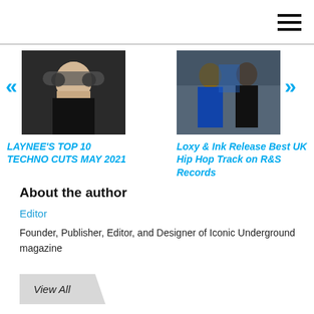[Figure (screenshot): Hamburger menu icon (three horizontal lines) in top right corner]
[Figure (photo): Photo of a female DJ wearing headphones, black top, close-up view]
LAYNEE'S TOP 10 TECHNO CUTS MAY 2021
[Figure (photo): Photo of two men standing, one in blue hoodie, outdoors]
Loxy & Ink Release Best UK Hip Hop Track on R&S Records
About the author
Editor
Founder, Publisher, Editor, and Designer of Iconic Underground magazine
View All